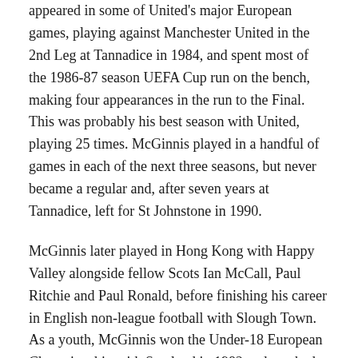appeared in some of United's major European games, playing against Manchester United in the 2nd Leg at Tannadice in 1984, and spent most of the 1986-87 season UEFA Cup run on the bench, making four appearances in the run to the Final. This was probably his best season with United, playing 25 times. McGinnis played in a handful of games in each of the next three seasons, but never became a regular and, after seven years at Tannadice, left for St Johnstone in 1990.
McGinnis later played in Hong Kong with Happy Valley alongside fellow Scots Ian McCall, Paul Ritchie and Paul Ronald, before finishing his career in English non-league football with Slough Town. As a youth, McGinnis won the Under-18 European Championship with Scotland in 1982 and reached the quarter-finals of the resulting 1983 Under-20 World Championships.
McGinnis played his final years as a professional in the Queensland State League with Bundaberg Waves, before becoming the Director Of Coaching for Central Queensland. He joined the Australian National League side Northern Spirit in 2002 as Head of Youth before taking on the role of Director of Coaching for the club in 2007. After leaving from...